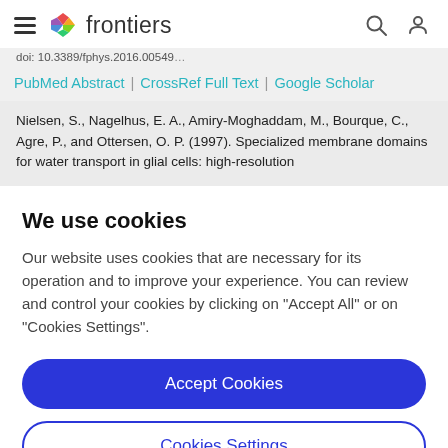frontiers
doi: 10.3389/fphys...
PubMed Abstract | CrossRef Full Text | Google Scholar
Nielsen, S., Nagelhus, E. A., Amiry-Moghaddam, M., Bourque, C., Agre, P., and Ottersen, O. P. (1997). Specialized membrane domains for water transport in glial cells: high-resolution
We use cookies
Our website uses cookies that are necessary for its operation and to improve your experience. You can review and control your cookies by clicking on "Accept All" or on "Cookies Settings".
Accept Cookies
Cookies Settings